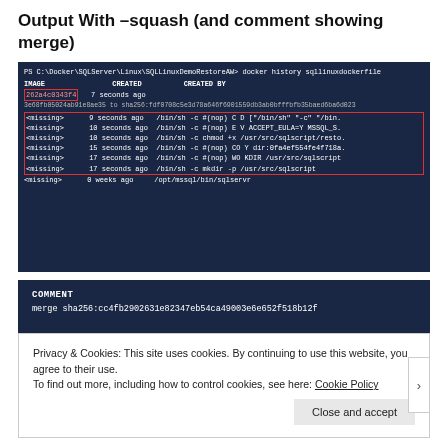Output With –squash (and comment showing merge)
[Figure (screenshot): PowerShell terminal showing docker history command output with IMAGE, CREATED, CREATED BY columns. A red box highlights '262a4c0343f4' image row and multiple <missing> rows are highlighted in a red border rectangle.]
[Figure (screenshot): Terminal showing COMMENT section with 'merge sha256:cc4fb2902631e82347eb54ca49003e6e652f518b12f']
Privacy & Cookies: This site uses cookies. By continuing to use this website, you agree to their use.
To find out more, including how to control cookies, see here: Cookie Policy
Close and accept